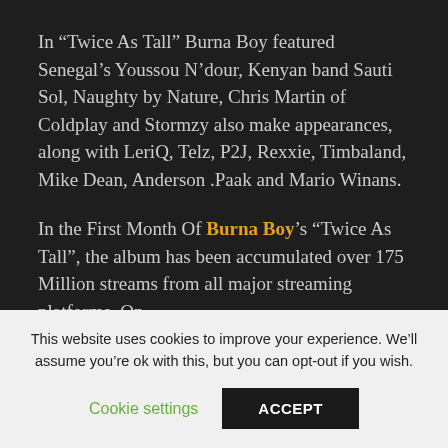In “Twice As Tall” Burna Boy featured Senegal’s Youssou N’dour, Kenyan band Sauti Sol, Naughty by Nature, Chris Martin of Coldplay and Stormzy also make appearances, along with LeriQ, Telz, P2J, Rexxie, Timbaland, Mike Dean, Anderson .Paak and Mario Winans.
In the First Month Of Burna Boy’s “Twice As Tall”, the album has been accumulated over 175 Million streams from all major streaming platforms. On
This website uses cookies to improve your experience. We’ll assume you’re ok with this, but you can opt-out if you wish.
Cookie settings
ACCEPT